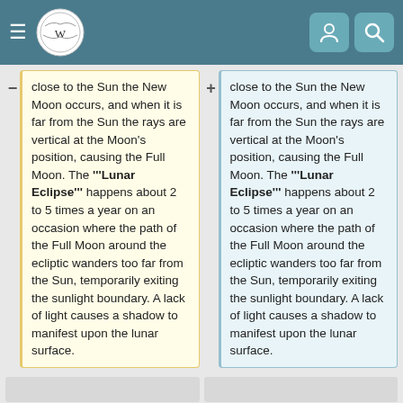Wikipedia diff view header with logo and navigation icons
close to the Sun the New Moon occurs, and when it is far from the Sun the rays are vertical at the Moon's position, causing the Full Moon. The '"Lunar Eclipse'" happens about 2 to 5 times a year on an occasion where the path of the Full Moon around the ecliptic wanders too far from the Sun, temporarily exiting the sunlight boundary. A lack of light causes a shadow to manifest upon the lunar surface.
close to the Sun the New Moon occurs, and when it is far from the Sun the rays are vertical at the Moon's position, causing the Full Moon. The '"Lunar Eclipse'" happens about 2 to 5 times a year on an occasion where the path of the Full Moon around the ecliptic wanders too far from the Sun, temporarily exiting the sunlight boundary. A lack of light causes a shadow to manifest upon the lunar surface.
==Lunar Phase Overview==
==Lunar Phase Overview==